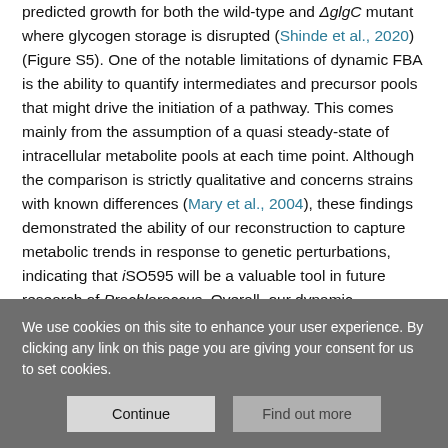predicted growth for both the wild-type and ΔglgC mutant where glycogen storage is disrupted (Shinde et al., 2020) (Figure S5). One of the notable limitations of dynamic FBA is the ability to quantify intermediates and precursor pools that might drive the initiation of a pathway. This comes mainly from the assumption of a quasi steady-state of intracellular metabolite pools at each time point. Although the comparison is strictly qualitative and concerns strains with known differences (Mary et al., 2004), these findings demonstrated the ability of our reconstruction to capture metabolic trends in response to genetic perturbations, indicating that iSO595 will be a valuable tool in future research of Prochloroccus. Overall, our dynamic simulations display biological and physiological behaviors that are consistent with
We use cookies on this site to enhance your user experience. By clicking any link on this page you are giving your consent for us to set cookies.